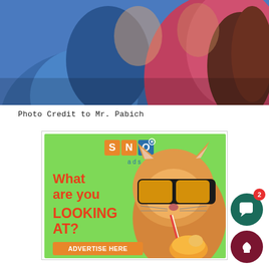[Figure (photo): Top portion of a photo showing two people, one in blue and one in pink/red, cropped at shoulders/head level]
Photo Credit to Mr. Pabich
[Figure (illustration): SNO ads advertisement banner featuring a cat with sunglasses drinking from a straw, with text 'What are you LOOKING AT?' and an orange 'ADVERTISE HERE' button]
[Figure (other): UI element: teal circular comment/chat button with red badge showing '2', and a dark red circular thumbs-up/like button]